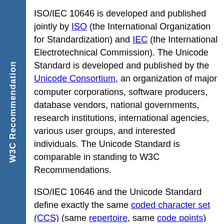W3C Recommendation
ISO/IEC 10646 is developed and published jointly by ISO (the International Organization for Standardization) and IEC (the International Electrotechnical Commission). The Unicode Standard is developed and published by the Unicode Consortium, an organization of major computer corporations, software producers, database vendors, national governments, research institutions, international agencies, various user groups, and interested individuals. The Unicode Standard is comparable in standing to W3C Recommendations.
ISO/IEC 10646 and the Unicode Standard define exactly the same coded character set (CCS) (same repertoire, same code points) and encoding forms. They are actively maintained in synchrony by liaisons and overlapping membership between the respective technical committees. In addition to the jointly defined CCS and encoding forms, the Unicode Standard adds normative and informative lists of character properties, normative character equivalence and normalization specifications, a normative algorithm for bidirectional text and a